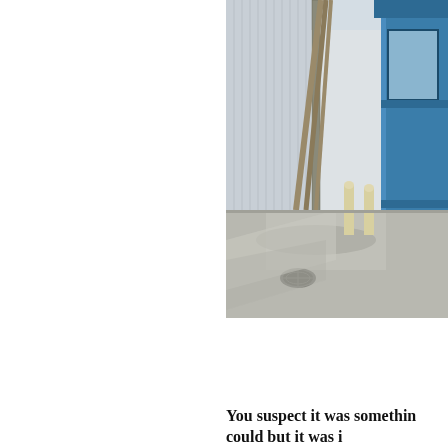[Figure (photo): Photograph of an industrial or commercial building exterior showing a blue metal structure on the right, corrugated metal wall panels in the center-left, concrete sidewalk with a manhole cover, and two light-colored bollards. The scene is lit with bright sunlight casting shadows.]
You suspect it was somethin… could but it was i…